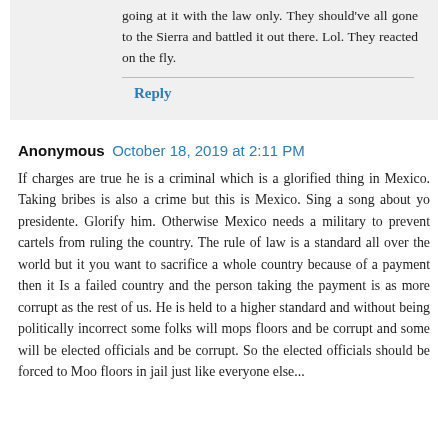going at it with the law only. They should've all gone to the Sierra and battled it out there. Lol. They reacted on the fly.
Reply
Anonymous  October 18, 2019 at 2:11 PM
If charges are true he is a criminal which is a glorified thing in Mexico. Taking bribes is also a crime but this is Mexico. Sing a song about yo presidente. Glorify him. Otherwise Mexico needs a military to prevent cartels from ruling the country. The rule of law is a standard all over the world but it you want to sacrifice a whole country because of a payment then it Is a failed country and the person taking the payment is as more corrupt as the rest of us. He is held to a higher standard and without being politically incorrect some folks will mops floors and be corrupt and some will be elected officials and be corrupt. So the elected officials should be forced to Moo floors in jail just like everyone else...